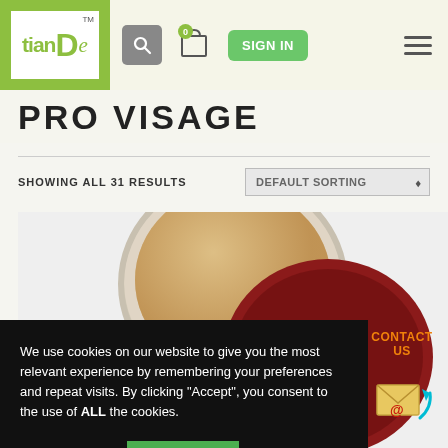[Figure (screenshot): TianDe website header with logo, search icon, cart icon with badge '0', green SIGN IN button, and hamburger menu]
PRO VISAGE
SHOWING ALL 31 RESULTS
DEFAULT SORTING
[Figure (photo): PRO Visage cosmetic product - cushion foundation compact, open showing beige powder, with dark red branded lid]
We use cookies on our website to give you the most relevant experience by remembering your preferences and repeat visits. By clicking "Accept", you consent to the use of ALL the cookies.
Cookie settings
ACCEPT
[Figure (illustration): Contact Us widget with orange text and envelope icon with @ symbol and cyan arrow]